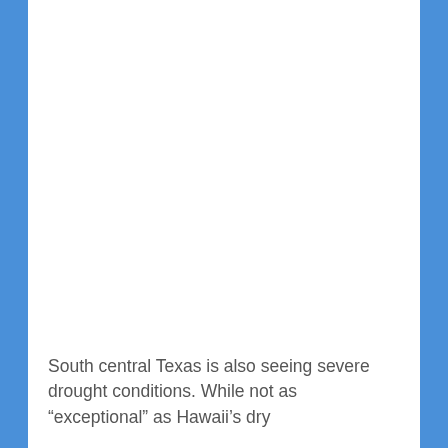South central Texas is also seeing severe drought conditions. While not as “exceptional” as Hawaii’s dry